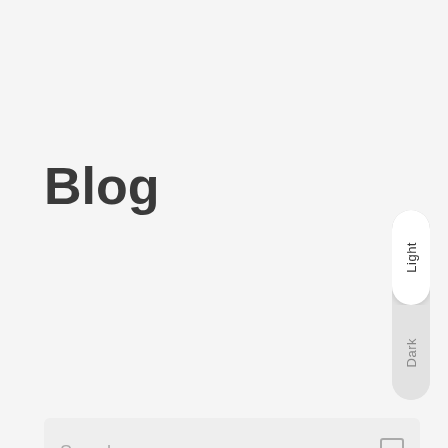Blog
Light
Dark
Search...
Share This Blog
[Figure (illustration): Four circular social share icon buttons arranged horizontally]